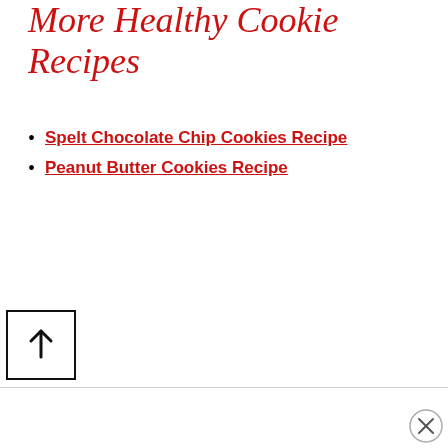More Healthy Cookie Recipes
Spelt Chocolate Chip Cookies Recipe
Peanut Butter Cookies Recipe
[Figure (other): Back to top button: a square with an upward arrow inside]
[Figure (other): Close/dismiss button: a circle with an X inside, bottom right corner]